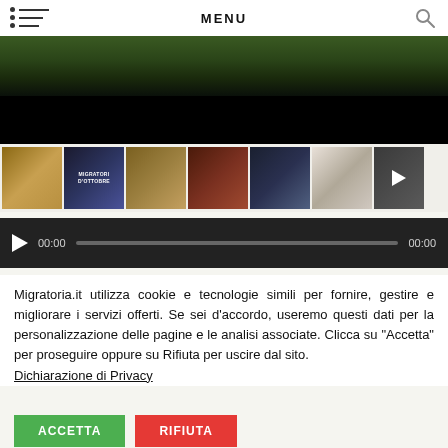MENU
[Figure (screenshot): Video player main area showing nature/foliage scene with dark overlay]
[Figure (screenshot): Thumbnail strip showing 7 video thumbnails including 'Migratori d'Ottobre' title card and various wildlife scenes]
[Figure (screenshot): Audio player control bar with play button, time codes 00:00 and 00:00, and progress bar]
Migratoria.it utilizza cookie e tecnologie simili per fornire, gestire e migliorare i servizi offerti. Se sei d'accordo, useremo questi dati per la personalizzazione delle pagine e le analisi associate. Clicca su "Accetta" per proseguire oppure su Rifiuta per uscire dal sito. Dichiarazione di Privacy
ACCETTA
RIFIUTA